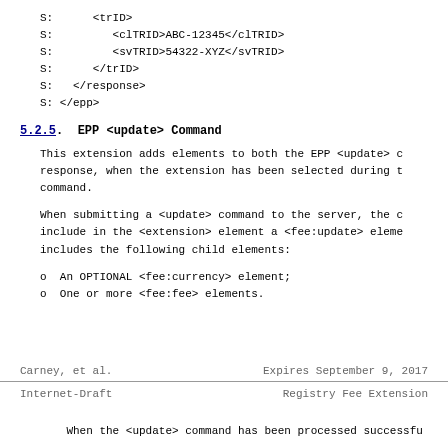S:      <trID>
S:         <clTRID>ABC-12345</clTRID>
S:         <svTRID>54322-XYZ</svTRID>
S:      </trID>
S:   </response>
S: </epp>
5.2.5.  EPP <update> Command
This extension adds elements to both the EPP <update> command and response, when the extension has been selected during the command.
When submitting a <update> command to the server, the client MUST include in the <extension> element a <fee:update> element that includes the following child elements:
o  An OPTIONAL <fee:currency> element;
o  One or more <fee:fee> elements.
Carney, et al.          Expires September 9, 2017
Internet-Draft               Registry Fee Extension
When the <update> command has been processed successfu...